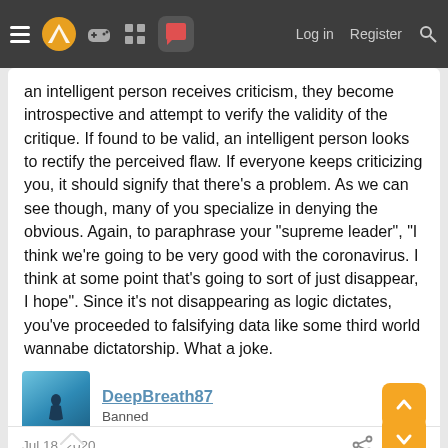Log in  Register
an intelligent person receives criticism, they become introspective and attempt to verify the validity of the critique. If found to be valid, an intelligent person looks to rectify the perceived flaw. If everyone keeps criticizing you, it should signify that there's a problem. As we can see though, many of you specialize in denying the obvious. Again, to paraphrase your "supreme leader", “I think we’re going to be very good with the coronavirus. I think at some point that’s going to sort of just disappear, I hope”. Since it’s not disappearing as logic dictates, you’ve proceeded to falsifying data like some third world wannabe dictatorship. What a joke.
DeepBreath87
Banned
Jul 18, 2020
TheSpecialOne said: